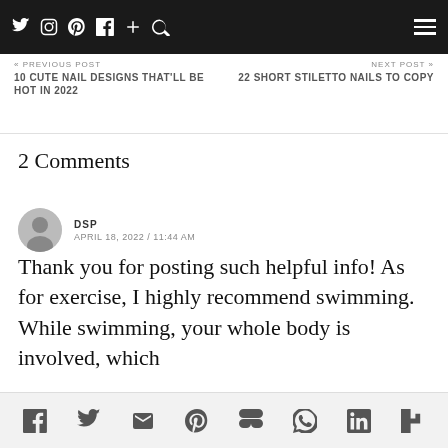Social media icons nav bar with Twitter, Instagram, Pinterest, Facebook, Plus, Search, and hamburger menu
« PREVIOUS POST / 10 CUTE NAIL DESIGNS THAT'LL BE HOT IN 2022 | NEXT POST » / 22 SHORT STILETTO NAILS TO COPY
2 Comments
DSP
APRIL 18, 2022 / 11:44 AM
Thank you for posting such helpful info! As for exercise, I highly recommend swimming. While swimming, your whole body is involved, which
Share icons: Facebook, Twitter, Email, Pinterest, Mix, WhatsApp, LinkedIn, Flipboard